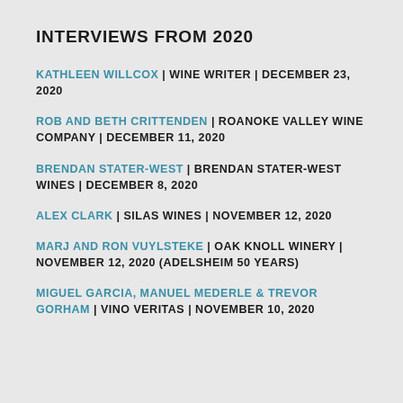INTERVIEWS FROM 2020
KATHLEEN WILLCOX | WINE WRITER | DECEMBER 23, 2020
ROB AND BETH CRITTENDEN | ROANOKE VALLEY WINE COMPANY | DECEMBER 11, 2020
BRENDAN STATER-WEST | BRENDAN STATER-WEST WINES | DECEMBER 8, 2020
ALEX CLARK | SILAS WINES | NOVEMBER 12, 2020
MARJ AND RON VUYLSTEKE | OAK KNOLL WINERY | NOVEMBER 12, 2020 (ADELSHEIM 50 YEARS)
MIGUEL GARCIA, MANUEL MEDERLE & TREVOR GORHAM | VINO VERITAS | NOVEMBER 10, 2020